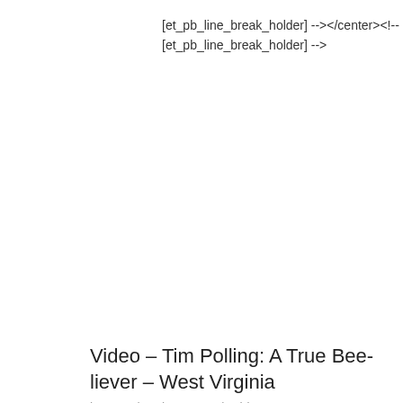[et_pb_line_break_holder] --></center><!--
[et_pb_line_break_holder] -->
Video – Tim Polling: A True Bee-liever – West Virginia
by Dan | Feb 5, 2018 | Video
This is a great Video from the West Virginia Veterans and Warriors to Agriculture program.  Some people are